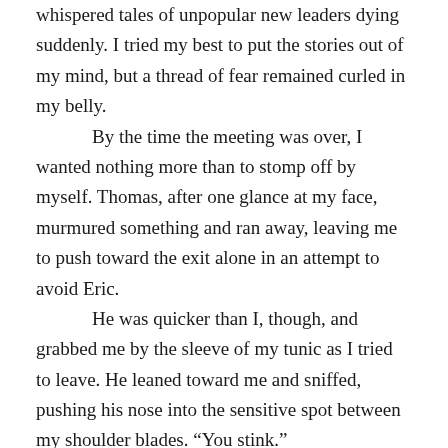whispered tales of unpopular new leaders dying suddenly. I tried my best to put the stories out of my mind, but a thread of fear remained curled in my belly.

By the time the meeting was over, I wanted nothing more than to stomp off by myself. Thomas, after one glance at my face, murmured something and ran away, leaving me to push toward the exit alone in an attempt to avoid Eric.

He was quicker than I, though, and grabbed me by the sleeve of my tunic as I tried to leave. He leaned toward me and sniffed, pushing his nose into the sensitive spot between my shoulder blades. “You stink.”

I shook him off, hoping to escape without encountering anyone else. Alas, too late; Ben smirked at me as he crossed the chamber.

“You’re not clan chief yet,” Ben said when he